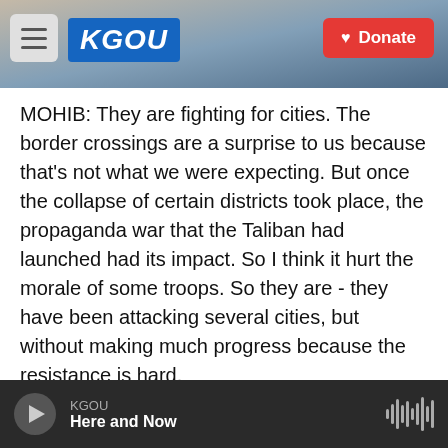KGOU — Donate
MOHIB: They are fighting for cities. The border crossings are a surprise to us because that's not what we were expecting. But once the collapse of certain districts took place, the propaganda war that the Taliban had launched had its impact. So I think it hurt the morale of some troops. So they are - they have been attacking several cities, but without making much progress because the resistance is hard.
KELLY: You mention morale. Why are some Afghan forces surrendering?
KGOU — Here and Now